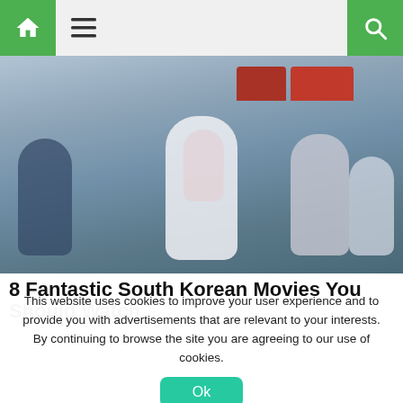Navigation bar with home icon, hamburger menu, and search icon
[Figure (photo): Movie poster / promotional still showing several people running in front of a train — scene from a South Korean action/horror film]
8 Fantastic South Korean Movies You Should Watch
This website uses cookies to improve your user experience and to provide you with advertisements that are relevant to your interests. By continuing to browse the site you are agreeing to our use of cookies.